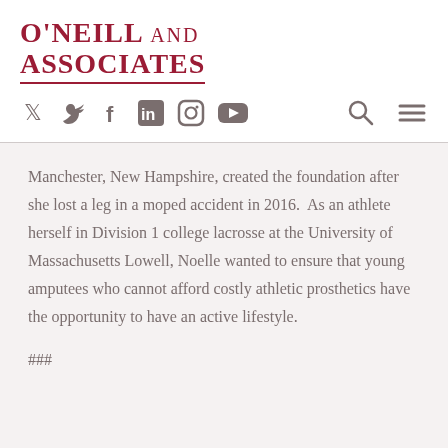[Figure (logo): O'Neill and Associates logo in dark red/crimson with underline]
[Figure (infographic): Social media icons (Twitter, Facebook, LinkedIn, Instagram, YouTube) and navigation icons (search magnifier, hamburger menu)]
Manchester, New Hampshire, created the foundation after she lost a leg in a moped accident in 2016.  As an athlete herself in Division 1 college lacrosse at the University of Massachusetts Lowell, Noelle wanted to ensure that young amputees who cannot afford costly athletic prosthetics have the opportunity to have an active lifestyle.
###